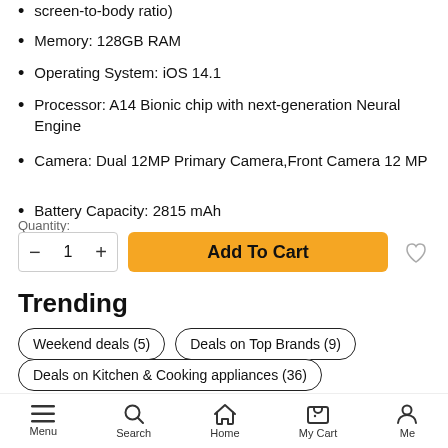screen-to-body ratio)
Memory: 128GB RAM
Operating System: iOS 14.1
Processor: A14 Bionic chip with next-generation Neural Engine
Camera: Dual 12MP Primary Camera,Front Camera 12 MP
Battery Capacity: 2815 mAh
Quantity:
1
Add To Cart
Trending
Weekend deals (5)
Deals on Top Brands (9)
Deals on Kitchen & Cooking appliances (36)
Deals on Men's Grooming (15)
Top Deals (5)
Menu  Search  Home  My Cart  Me